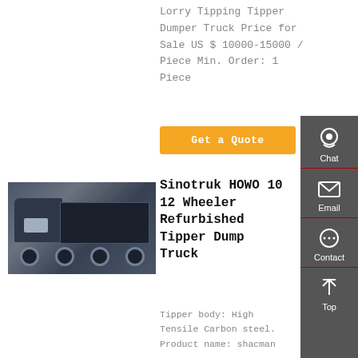Lorry Tipping Tipper Dumper Truck Price for Sale US $ 10000-15000 / Piece Min. Order: 1 Piece
Get a Quote
[Figure (photo): Black Sinotruk HOWO 12-wheeler dump truck parked outdoors with trees in background]
Sinotruk HOWO 10 12 Wheeler Refurbished Tipper Dump Truck
Tipper body: High Tensile Carbon steel. Product name: shacman